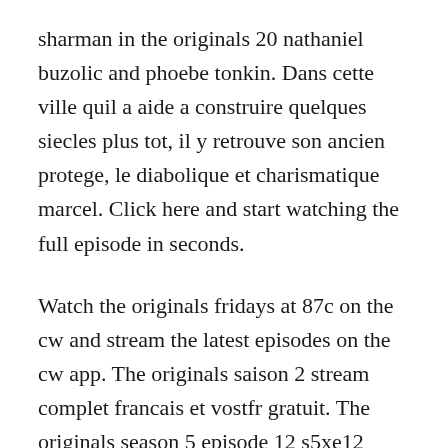sharman in the originals 20 nathaniel buzolic and phoebe tonkin. Dans cette ville quil a aide a construire quelques siecles plus tot, il y retrouve son ancien protege, le diabolique et charismatique marcel. Click here and start watching the full episode in seconds.
Watch the originals fridays at 87c on the cw and stream the latest episodes on the cw app. The originals saison 2 stream complet francais et vostfr gratuit. The originals season 5 episode 12 s5xe12 watch online. The originals s1e8 streaming vf et vostfr serie en. Extreme